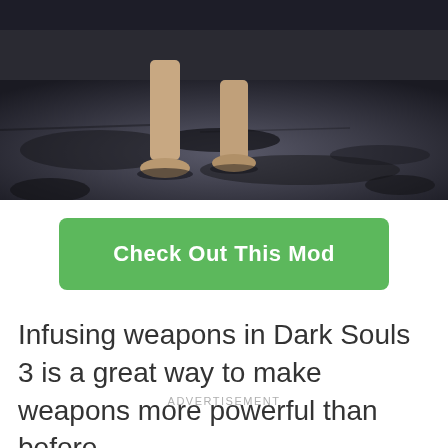[Figure (screenshot): Dark souls 3 game screenshot showing bare feet/legs walking on dark muddy ground]
Check Out This Mod
Infusing weapons in Dark Souls 3 is a great way to make weapons more powerful than before.
ADVERTISEMENT